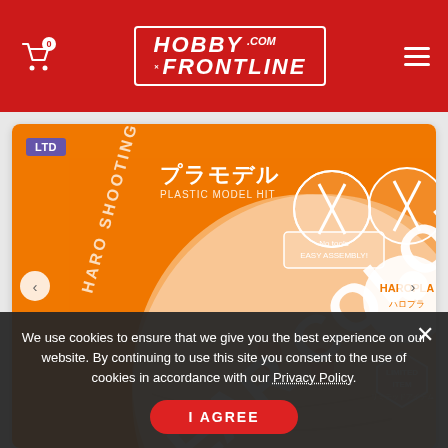HobbyFrontline.com — navigation header with cart (0) and menu
[Figure (photo): Product photo of 'Haro Shooting Orange Clear Color' plastic model kit (Haropla Limited Item) on orange box packaging with Japanese text. Badge 'LTD' visible top left.]
We use cookies to ensure that we give you the best experience on our website. By continuing to use this site you consent to the use of cookies in accordance with our Privacy Policy.
I AGREE